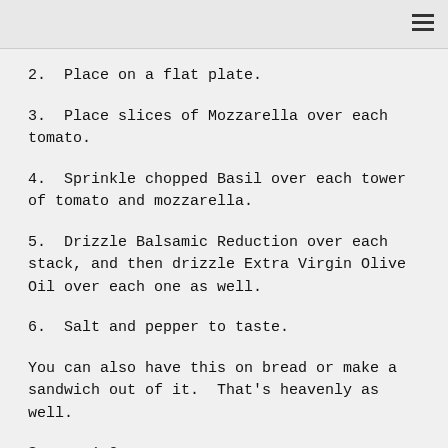2.  Place on a flat plate.
3.  Place slices of Mozzarella over each tomato.
4.  Sprinkle chopped Basil over each tower of tomato and mozzarella.
5.  Drizzle Balsamic Reduction over each stack, and then drizzle Extra Virgin Olive Oil over each one as well.
6.  Salt and pepper to taste.
You can also have this on bread or make a sandwich out of it.  That's heavenly as well.
Serves 1-2